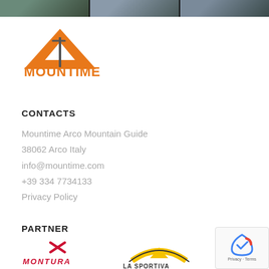[Figure (photo): Top bar with three outdoor/kayaking photos in dark strip]
[Figure (logo): Mountime Outdoor Adventures logo — orange triangle mountain with ice axe, orange text MOUNTIME, gray text OUTDOOR ADVENTURES]
CONTACTS
Mountime Arco Mountain Guide
38062 Arco Italy
info@mountime.com
+39 334 7734133
Privacy Policy
PARTNER
[Figure (logo): Montura logo in red — stylized X shape above MONTURA text]
[Figure (logo): La Sportiva logo — mountain arc shape with LA SPORTIVA text]
[Figure (other): Google reCAPTCHA badge with Privacy and Terms links]